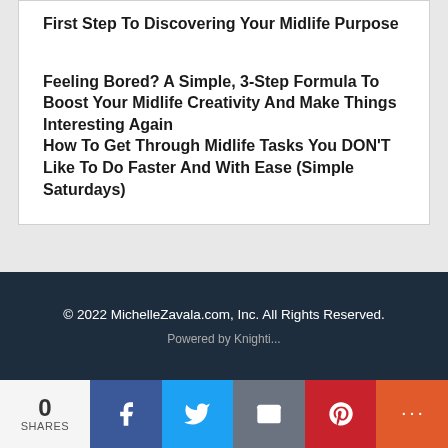First Step To Discovering Your Midlife Purpose
Feeling Bored? A Simple, 3-Step Formula To Boost Your Midlife Creativity And Make Things Interesting Again
How To Get Through Midlife Tasks You DON'T Like To Do Faster And With Ease (Simple Saturdays)
© 2022 MichelleZavala.com, Inc. All Rights Reserved.
0 SHARES